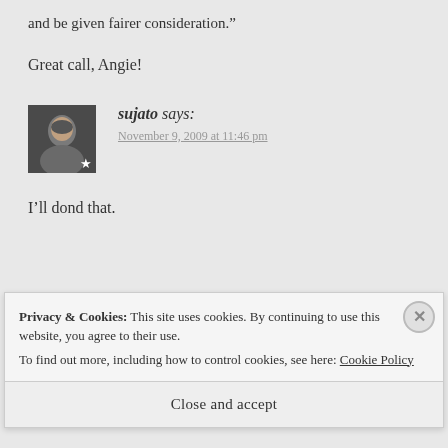and be given fairer consideration.”
Great call, Angie!
sujato says:
November 9, 2009 at 11:46 pm
I’ll dond that.
Privacy & Cookies: This site uses cookies. By continuing to use this website, you agree to their use.
To find out more, including how to control cookies, see here: Cookie Policy
Close and accept